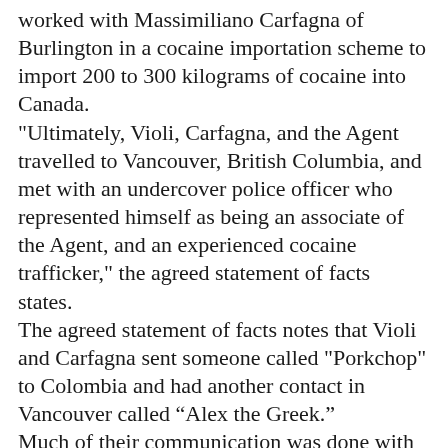worked with Massimiliano Carfagna of Burlington in a cocaine importation scheme to import 200 to 300 kilograms of cocaine into Canada. "Ultimately, Violi, Carfagna, and the Agent travelled to Vancouver, British Columbia, and met with an undercover police officer who represented himself as being an associate of the Agent, and an experienced cocaine trafficker," the agreed statement of facts states. The agreed statement of facts notes that Violi and Carfagna sent someone called "Porkchop" to Colombia and had another contact in Vancouver called “Alex the Greek.” Much of their communication was done with PGP encrypted messages, the agreed statement of facts states. The court document includes a transcript of a March 30, 2017, conversation between the agent and Violi in which Violi talked of his history in drug trafficking in the Hamilton area.